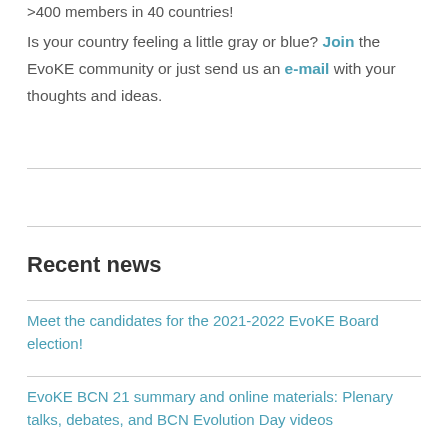>400 members in 40 countries!
Is your country feeling a little gray or blue? Join the EvoKE community or just send us an e-mail with your thoughts and ideas.
Recent news
Meet the candidates for the 2021-2022 EvoKE Board election!
EvoKE BCN 21 summary and online materials: Plenary talks, debates, and BCN Evolution Day videos